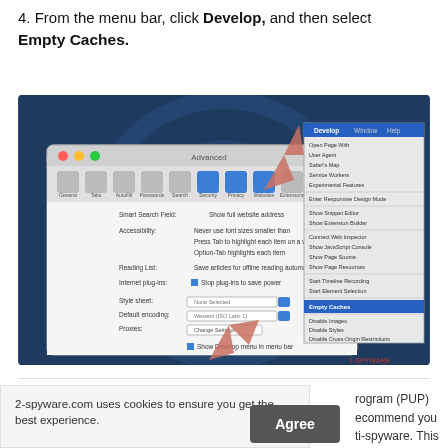4. From the menu bar, click Develop, and then select Empty Caches.
[Figure (screenshot): Screenshot of macOS Safari Advanced preferences window and Develop menu open, showing 'Empty Caches' option highlighted in blue, with arrows pointing to relevant UI elements on a dark blue textured background.]
2-spyware.com uses cookies to ensure you get the best experience.
Privacy policy
Agree
rogram (PUP)
ecommend you
ti-spyware. This